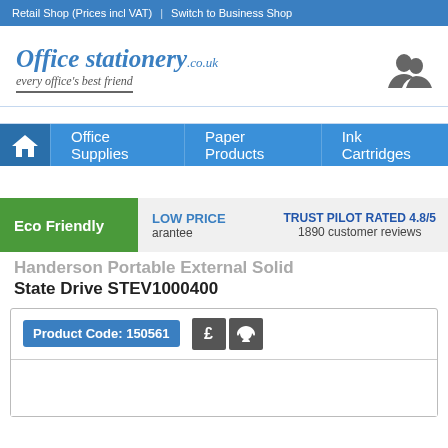Retail Shop (Prices incl VAT) | Switch to Business Shop
[Figure (logo): Office stationery.co.uk logo with tagline 'every office's best friend' and user icon]
Office Supplies | Paper Products | Ink Cartridges
Eco Friendly | LOW PRICE guarantee | TRUST PILOT RATED 4.8/5 — 1890 customer reviews
Handerson Portable External Solid State Drive STEV1000400
Product Code: 150561